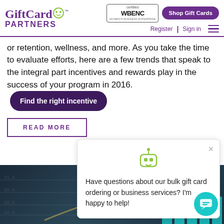[Figure (screenshot): GiftCard Partners website header with logo, WBENC certified badge, Shop Gift Cards button, Register/Sign in nav links, and hamburger menu]
or retention, wellness, and more. As you take the time to evaluate efforts, here are a few trends that speak to the integral part incentives and rewards play in the success of your program in 2016.
Find the right incentive
READ MORE
[Figure (infographic): Chatbot popup with robot icon asking: Have questions about our bulk gift card ordering or business services? I'm happy to help!]
[Figure (photo): Person writing on glass with bar chart visible in background]